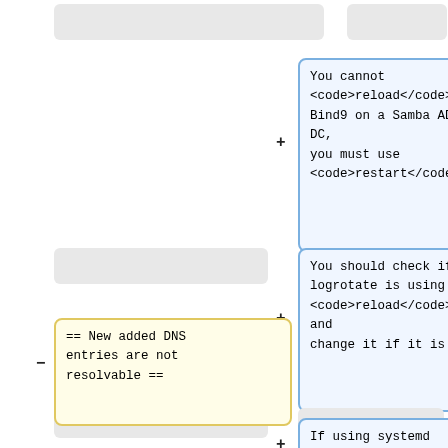[Figure (other): Diff view showing wiki-style document changes. Gray placeholder boxes represent removed/context lines. Blue bordered boxes show added text blocks with + markers. A yellow bordered box shows a removed section heading with - marker. Content includes notes about Bind9 reload vs restart on Samba AD DC, logrotate reload check, new DNS entries section heading, and systemd note.]
You cannot <code>reload</code> Bind9 on a Samba AD DC, you must use <code>restart</code>.
You should check if logrotate is using <code>reload</code> and change it if it is.
== New added DNS entries are not resolvable ==
If using systemd this can be disabled or